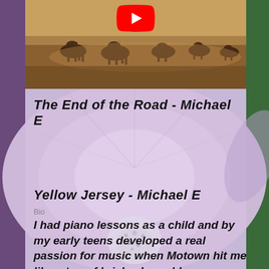[Figure (screenshot): YouTube video thumbnail showing horses in a landscape with a red YouTube play button icon at the top center]
The End of the Road - Michael E
[Figure (photo): Close-up macro photograph of a pale purple/lavender flower with visible stamens and pistils in the center, used as page background]
Yellow Jersey - Michael E
Bio
I had piano lessons as a child and by my early teens developed a real passion for music when Motown hit me like a ton of bricks. I was blown away. I'd quite liked the Beatles